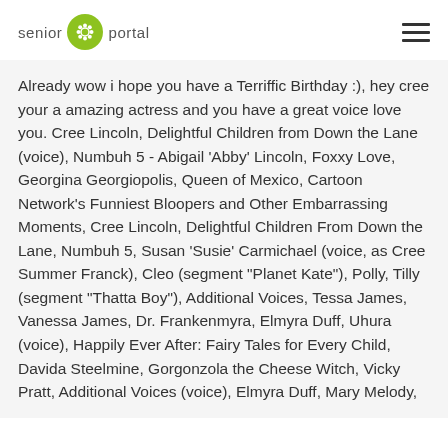senior portal
Already wow i hope you have a Terriffic Birthday :), hey cree your a amazing actress and you have a great voice love you. Cree Lincoln, Delightful Children from Down the Lane (voice), Numbuh 5 - Abigail 'Abby' Lincoln, Foxxy Love, Georgina Georgiopolis, Queen of Mexico, Cartoon Network's Funniest Bloopers and Other Embarrassing Moments, Cree Lincoln, Delightful Children From Down the Lane, Numbuh 5, Susan 'Susie' Carmichael (voice, as Cree Summer Franck), Cleo (segment "Planet Kate"), Polly, Tilly (segment "Thatta Boy"), Additional Voices, Tessa James, Vanessa James, Dr. Frankenmyra, Elmyra Duff, Uhura (voice), Happily Ever After: Fairy Tales for Every Child, Davida Steelmine, Gorgonzola the Cheese Witch, Vicky Pratt, Additional Voices (voice), Elmyra Duff, Mary Melody,